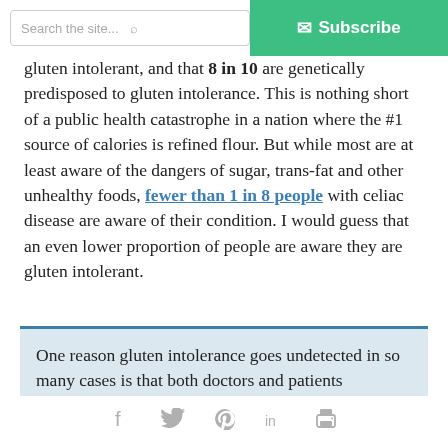Search the site... | Subscribe
gluten intolerant, and that 8 in 10 are genetically predisposed to gluten intolerance. This is nothing short of a public health catastrophe in a nation where the #1 source of calories is refined flour. But while most are at least aware of the dangers of sugar, trans-fat and other unhealthy foods, fewer than 1 in 8 people with celiac disease are aware of their condition. I would guess that an even lower proportion of people are aware they are gluten intolerant.
One reason gluten intolerance goes undetected in so many cases is that both doctors and patients mistakenly believe it only causes digestive problems
Social share icons: Facebook, Twitter, Pinterest, LinkedIn, Print